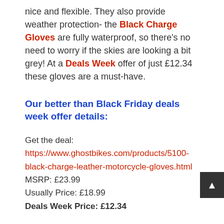nice and flexible. They also provide weather protection- the Black Charge Gloves are fully waterproof, so there's no need to worry if the skies are looking a bit grey! At a Deals Week offer of just £12.34 these gloves are a must-have.
Our better than Black Friday deals week offer details:
Get the deal: https://www.ghostbikes.com/products/5100-black-charge-leather-motorcycle-gloves.html
MSRP: £23.99
Usually Price: £18.99
Deals Week Price: £12.34